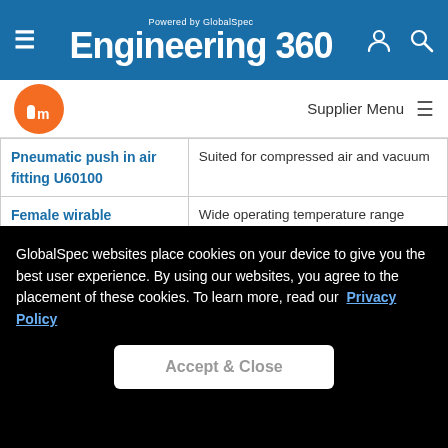Powered by GlobalSpec Engineering 360
[Figure (logo): IFM orange circular logo]
Supplier Menu
| Product | Description |
| --- | --- |
| Pneumatic push in air fitting U60100 | Suited for compressed air and vacuum |
| Female wirable connectors -- E10109 | Wide operating temperature range Gold-plated contacts for reliable electrical connections High protection rating for the requirements of harsh industrial environments |
GlobalSpec websites place cookies on your device to give you the best user experience. By using our websites, you agree to the placement of these cookies. To learn more, read our Privacy Policy
Accept & Close